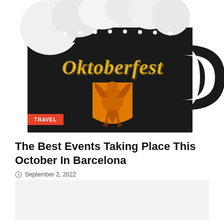[Figure (illustration): Black beer mug / stein clipart with foam overflowing at top, 'Oktoberfest' written in gothic yellow-gold lettering on the mug, and an orange German eagle crest emblem below the text. TRAVEL badge in red/orange at bottom left of image.]
The Best Events Taking Place This October In Barcelona
September 2, 2022
[Figure (photo): Partially visible second image at bottom of page, light gray/beige background, content mostly cropped.]